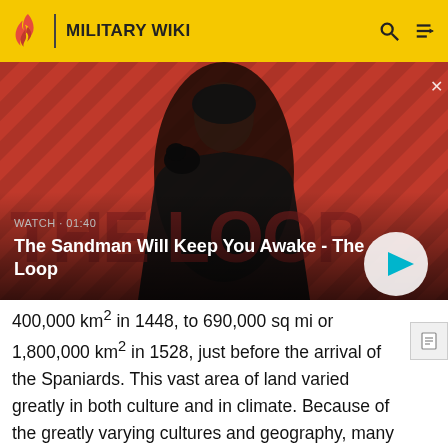MILITARY WIKI
[Figure (screenshot): Video thumbnail showing a person in black with a raven on their shoulder against a red diagonal striped background. Shows WATCH · 01:40 label and title 'The Sandman Will Keep You Awake - The Loop' with a play button.]
WATCH · 01:40
The Sandman Will Keep You Awake - The Loop
400,000 km² in 1448, to 690,000 sq mi or 1,800,000 km² in 1528, just before the arrival of the Spaniards. This vast area of land varied greatly in both culture and in climate. Because of the greatly varying cultures and geography, many areas of the empire were left under local leaders,